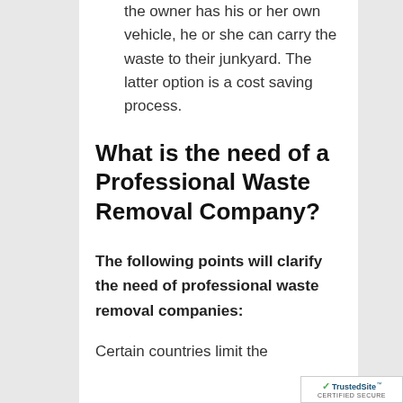the owner has his or her own vehicle, he or she can carry the waste to their junkyard. The latter option is a cost saving process.
What is the need of a Professional Waste Removal Company?
The following points will clarify the need of professional waste removal companies:
Certain countries limit the